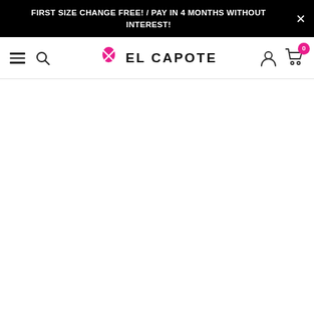FIRST SIZE CHANGE FREE! / PAY IN 4 MONTHS WITHOUT INTEREST!
[Figure (logo): El Capote brand logo with pink crossed swords/pins icon and bold text EL CAPOTE]